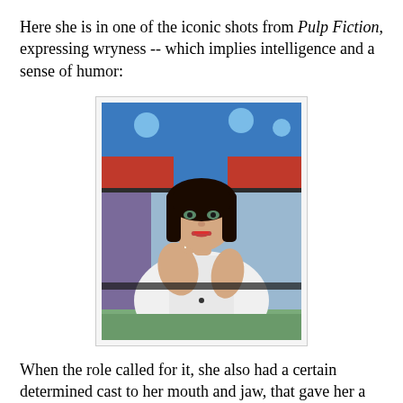Here she is in one of the iconic shots from Pulp Fiction, expressing wryness -- which implies intelligence and a sense of humor:
[Figure (photo): A woman with dark bob-cut hair and bangs, wearing a white shirt, sitting in a diner booth, holding a cigarette and smiling wryly. Colorful background with blue and red elements. This is the iconic Mia Wallace shot from Pulp Fiction.]
When the role called for it, she also had a certain determined cast to her mouth and jaw, that gave her a certain defiance